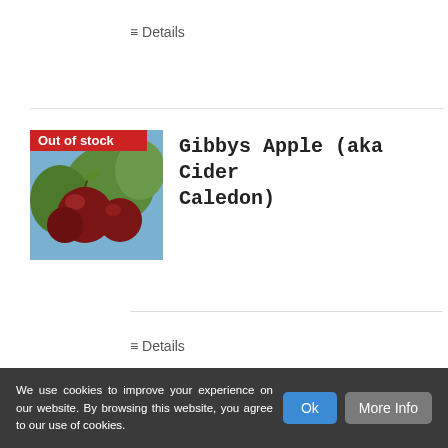≡ Details
[Figure (photo): Product image of Gibbys Apple (aka Cider Caledon) showing dark red apples on a tree, with an 'Out of stock' red badge overlay at the top]
Gibbys Apple (aka Cider Caledon)
≡ Details
We use cookies to improve your experience on our website. By browsing this website, you agree to our use of cookies.